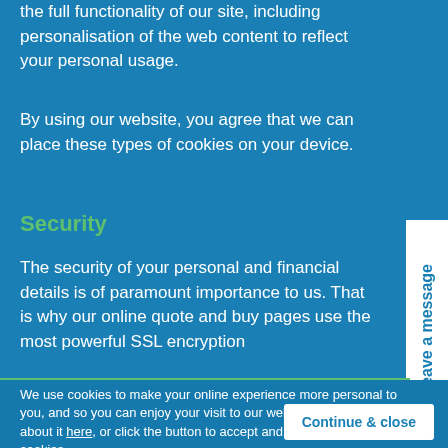the full functionality of our site, including personalisation of the web content to reflect your personal usage.
By using our website, you agree that we can place these types of cookies on your device.
Security
The security of your personal and financial details is of paramount importance to us. That is why our online quote and buy pages use the most powerful SSL encryption
Leave a message
We use cookies to make your online experience more personal to you, and so you can enjoy your visit to our website. Read more about it here, or click the button to accept and agree to our use of cookies.
Continue & close